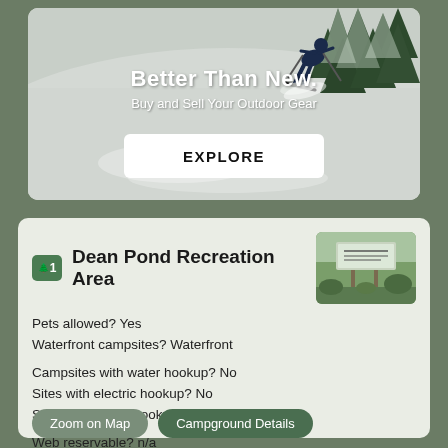[Figure (photo): Advertisement card showing a skier in deep powder snow with snow-covered trees in the background. Text overlay reads 'Better Than New. Buy and Sell Your Outdoor Gear' with an EXPLORE button.]
Dean Pond Recreation Area
[Figure (photo): Small thumbnail photo of a sign at Dean Pond Recreation Area, surrounded by trees and vegetation.]
Pets allowed? Yes
Waterfront campsites? Waterfront
Campsites with water hookup? No
Sites with electric hookup? No
Sites with sewer hookup? No
Web reservable? n/a
Zoom on Map
Campground Details